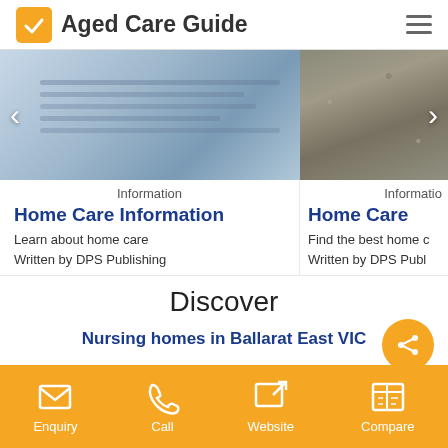Aged Care Guide
[Figure (screenshot): Carousel with two images: left shows blurred document/book pages, right shows rocky/gravel surface]
Information
Informatio
Home Care Information
Home Care
Learn about home care
Find the best home c
Written by DPS Publishing
Written by DPS Publ
Discover
Nursing homes in Ballarat East VIC
Enquiry | Call | Website | Compare